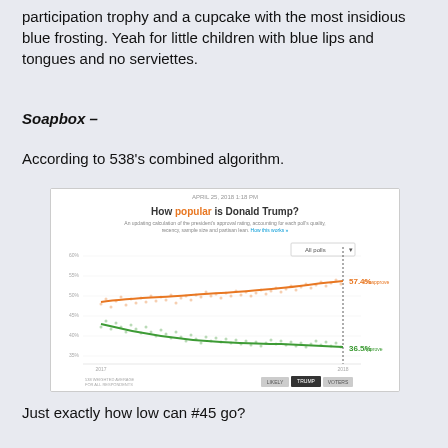participation trophy and a cupcake with the most insidious blue frosting. Yeah for little children with blue lips and tongues and no serviettes.
Soapbox –
According to 538's combined algorithm.
[Figure (continuous-plot): Screenshot of FiveThirtyEight chart titled 'How popular is Donald Trump?' showing approval (orange, 57.4%) and disapproval (green, 36.5%) trend lines over time with scatter points around each line.]
Just exactly how low can #45 go?